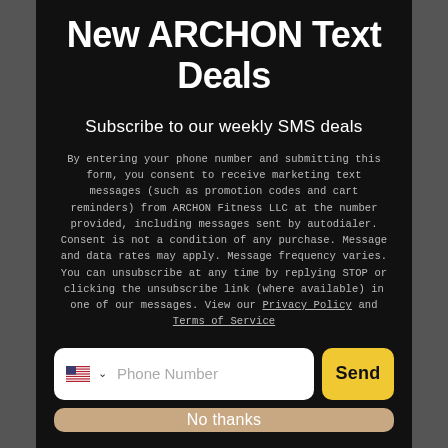New ARCHON Text Deals
Subscribe to our weekly SMS deals
By entering your phone number and submitting this form, you consent to receive marketing text messages (such as promotion codes and cart reminders) from ARCHON Fitness LLC at the number provided, including messages sent by autodialer. Consent is not a condition of any purchase. Message and data rates may apply. Message frequency varies. You can unsubscribe at any time by replying STOP or clicking the unsubscribe link (where available) in one of our messages. View our Privacy Policy and Terms of Service
[Figure (screenshot): Phone number input field with US flag and chevron, placeholder text 'Phone Number', and a yellow 'Send' button]
No thanks